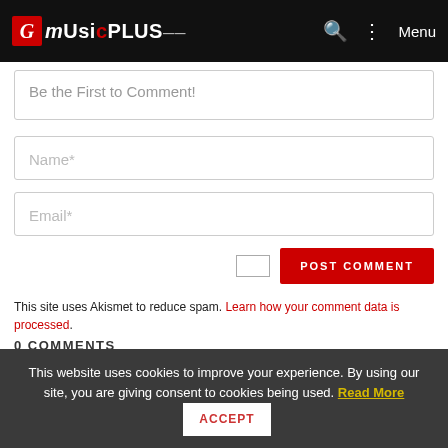G MusicPlus Menu
Be the First to Comment!
Name*
Email*
POST COMMENT
This site uses Akismet to reduce spam. Learn how your comment data is processed.
0 COMMENTS
This website uses cookies to improve your experience. By using our site, you are giving consent to cookies being used. Read More ACCEPT